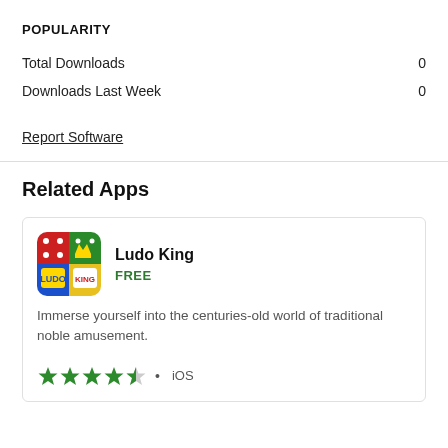POPULARITY
Total Downloads    0
Downloads Last Week    0
Report Software
Related Apps
[Figure (other): Ludo King app listing card with icon, name, FREE price tag, description text, star rating (4.5 stars), and iOS platform label]